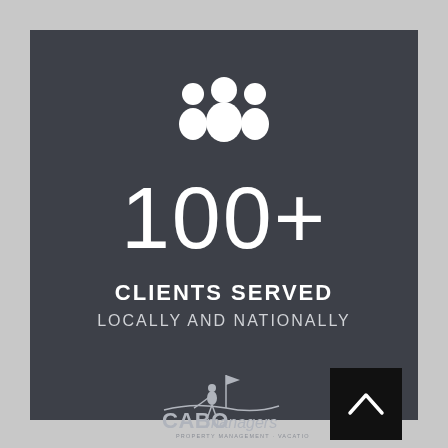[Figure (illustration): White group/team icon showing three people silhouettes on dark gray background]
100+
CLIENTS SERVED
LOCALLY AND NATIONALLY
[Figure (logo): CABO managers logo - Property Management · Vacation Rentals, with a stylized figure and golf flag graphic]
[Figure (illustration): Dark square button with white upward chevron/arrow icon]